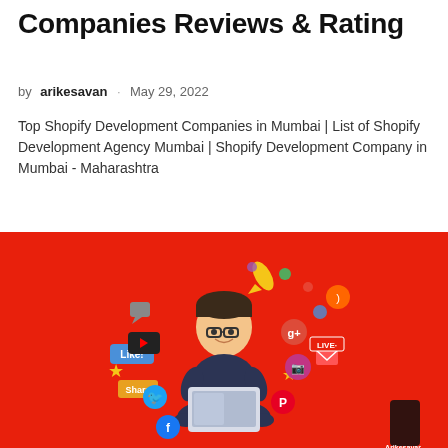Companies Reviews & Rating
by arikesavan · May 29, 2022
Top Shopify Development Companies in Mumbai | List of Shopify Development Agency Mumbai | Shopify Development Company in Mumbai - Maharashtra
[Figure (illustration): Red background illustration showing a person sitting cross-legged with a laptop, surrounded by floating social media icons (Like, Share, YouTube, Twitter, Facebook, Google+, Instagram, Pinterest, RSS, etc.) and a rocket. Arikesavan watermark logo visible in bottom right corner.]